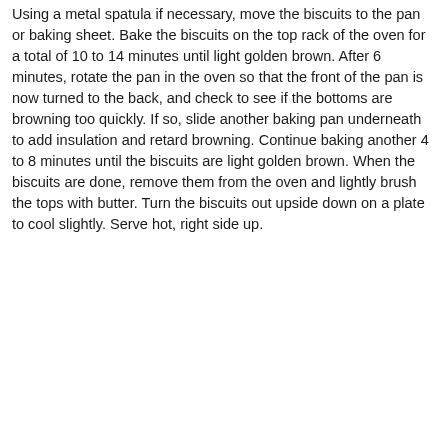Using a metal spatula if necessary, move the biscuits to the pan or baking sheet. Bake the biscuits on the top rack of the oven for a total of 10 to 14 minutes until light golden brown. After 6 minutes, rotate the pan in the oven so that the front of the pan is now turned to the back, and check to see if the bottoms are browning too quickly. If so, slide another baking pan underneath to add insulation and retard browning. Continue baking another 4 to 8 minutes until the biscuits are light golden brown. When the biscuits are done, remove them from the oven and lightly brush the tops with butter. Turn the biscuits out upside down on a plate to cool slightly. Serve hot, right side up.
< | Home | > | View web version